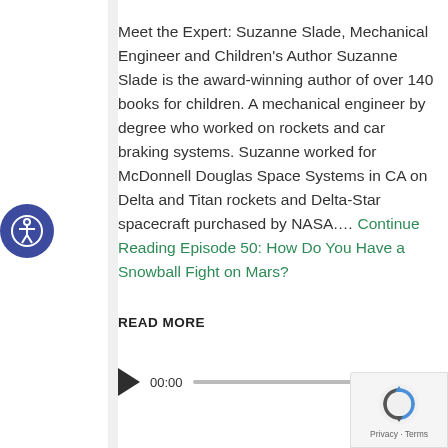Meet the Expert: Suzanne Slade, Mechanical Engineer and Children's Author Suzanne Slade is the award-winning author of over 140 books for children. A mechanical engineer by degree who worked on rockets and car braking systems. Suzanne worked for McDonnell Douglas Space Systems in CA on Delta and Titan rockets and Delta-Star spacecraft purchased by NASA.… Continue Reading Episode 50: How Do You Have a Snowball Fight on Mars?
READ MORE
[Figure (other): Audio player widget with play button, time display 00:00, progress bar, and end time 00:00]
[Figure (logo): reCAPTCHA badge with spinning arrows logo and Privacy - Terms text]